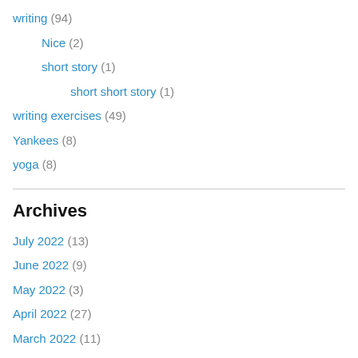writing (94)
Nice (2)
short story (1)
short short story (1)
writing exercises (49)
Yankees (8)
yoga (8)
Archives
July 2022 (13)
June 2022 (9)
May 2022 (3)
April 2022 (27)
March 2022 (11)
February 2022 (6)
January 2022 (6)
December 2021 (8)
November 2021 (4)